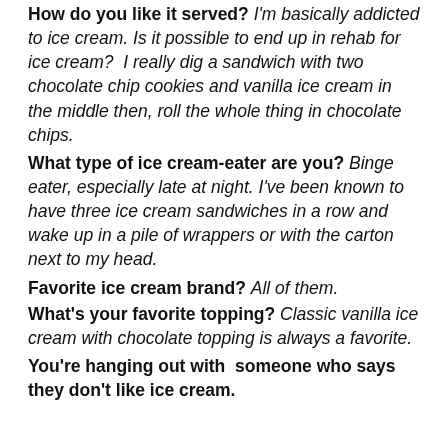How do you like it served? I'm basically addicted to ice cream. Is it possible to end up in rehab for ice cream? I really dig a sandwich with two chocolate chip cookies and vanilla ice cream in the middle then, roll the whole thing in chocolate chips.
What type of ice cream-eater are you? Binge eater, especially late at night. I've been known to have three ice cream sandwiches in a row and wake up in a pile of wrappers or with the carton next to my head.
Favorite ice cream brand? All of them.
What's your favorite topping? Classic vanilla ice cream with chocolate topping is always a favorite.
You're hanging out with  someone who says they don't like ice cream.